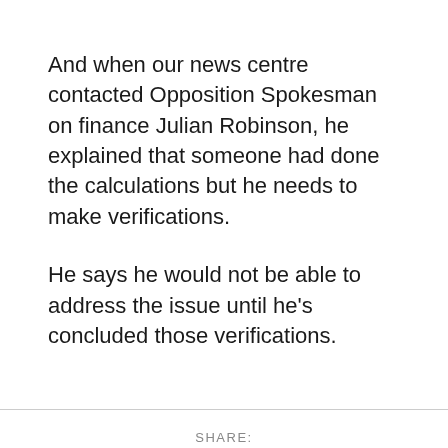And when our news centre contacted Opposition Spokesman on finance Julian Robinson, he explained that someone had done the calculations but he needs to make verifications.
He says he would not be able to address the issue until he's concluded those verifications.
SHARE: